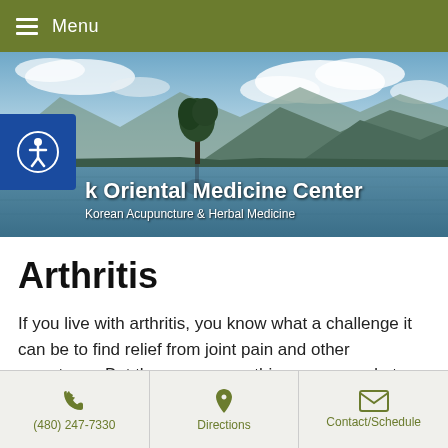Menu
[Figure (photo): Landscape hero image of a lake with a lone tree, mountains and clouds in the background. Overlaid with text 'Park Oriental Medicine Center' and 'Korean Acupuncture & Herbal Medicine'. Blue accessibility icon on the left.]
Arthritis
If you live with arthritis, you know what a challenge it can be to find relief from joint pain and other symptoms. But there are many things you can do to manage and control your arthritis and live a healthy,
(480) 247-7330   Directions   Contact/Schedule